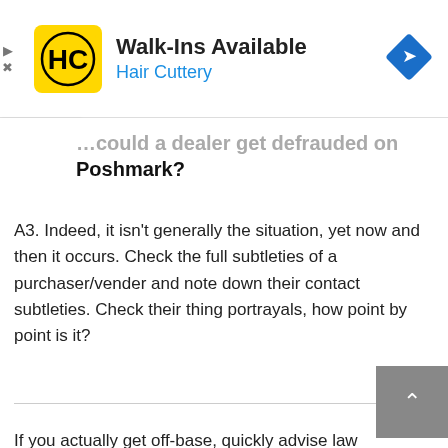[Figure (screenshot): Hair Cuttery advertisement banner with logo, 'Walk-Ins Available' title, 'Hair Cuttery' subtitle in blue, and a blue diamond navigation icon on the right.]
...could a dealer get defrauded on Poshmark?
A3. Indeed, it isn't generally the situation, yet now and then it occurs. Check the full subtleties of a purchaser/vender and note down their contact subtleties. Check their thing portrayals, how point by point is it?
If you actually get off-base, quickly advise law authorization and Poshmark.